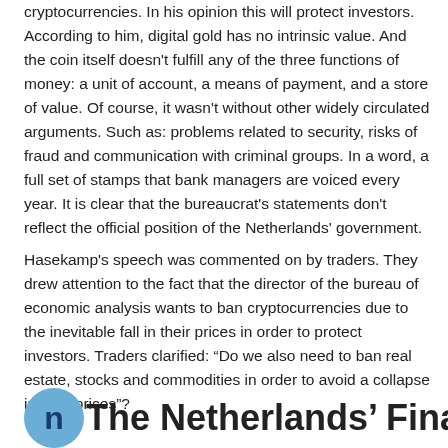cryptocurrencies. In his opinion this will protect investors. According to him, digital gold has no intrinsic value. And the coin itself doesn't fulfill any of the three functions of money: a unit of account, a means of payment, and a store of value. Of course, it wasn't without other widely circulated arguments. Such as: problems related to security, risks of fraud and communication with criminal groups. In a word, a full set of stamps that bank managers are voiced every year. It is clear that the bureaucrat's statements don't reflect the official position of the Netherlands' government.
Hasekamp's speech was commented on by traders. They drew attention to the fact that the director of the bureau of economic analysis wants to ban cryptocurrencies due to the inevitable fall in their prices in order to protect investors. Traders clarified: "Do we also need to ban real estate, stocks and commodities in order to avoid a collapse in their prices"?
The Netherlands' Finance